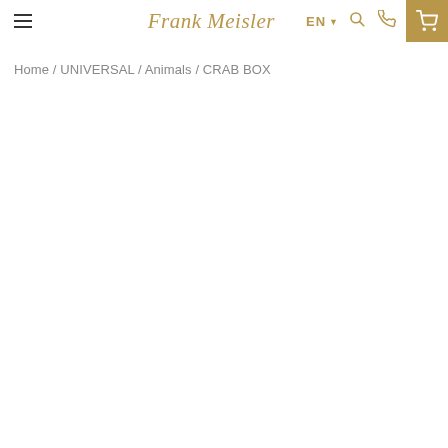Frank Meisler — Navigation bar with hamburger menu, logo, EN language selector, search icon, phone icon, and cart icon
Home / UNIVERSAL / Animals / CRAB BOX